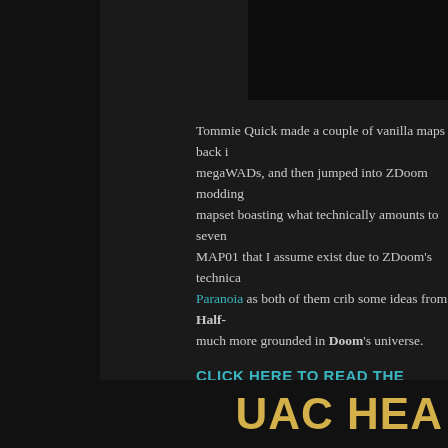Tommie Quick made a couple of vanilla maps back in megaWADs, and then jumped into ZDoom modding mapset boasting what technically amounts to seven MAP01 that I assume exist due to ZDoom's technica Paranoia as both of them crib some ideas from Half- much more grounded in Doom's universe.
CLICK HERE TO READ THE ENTIRE ARTICLE
Posted by KMX E XII at 12:23 PM   3 comments
Labels: 2001, Doom II, episode, Fatal, review, ZDoom
SUNDAY, APRIL 9, 2017
UAC Headquarters (TQMAP02.WAD
UAC HEA